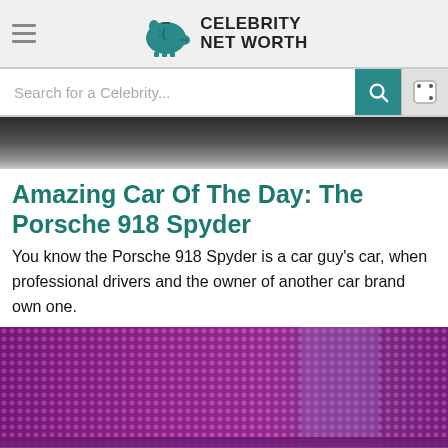Celebrity Net Worth
Search for a Celebrity...
[Figure (photo): Top portion of a dark car image, partially visible]
Amazing Car Of The Day: The Porsche 918 Spyder
You know the Porsche 918 Spyder is a car guy's car, when professional drivers and the owner of another car brand own one.
[Figure (photo): LED display or pixel screen showing purple/pink colors, close-up photograph]